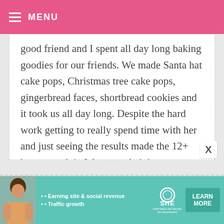MENU
good friend and I spent all day long baking goodies for our friends. We made Santa hat cake pops, Christmas tree cake pops, gingerbread faces, shortbread cookies and it took us all day long. Despite the hard work getting to really spend time with her and just seeing the results made the 12+ hours worth it. We were glad that everyone really enjoyed them as well :)
[Figure (infographic): SHE Partner Network advertisement banner with photo of woman, bullets for Earning site & social revenue and Traffic growth, SHE logo, and Learn More button]